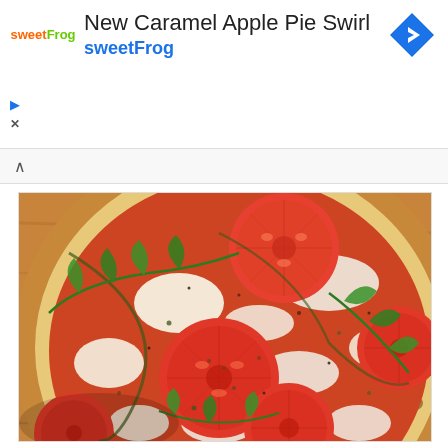[Figure (other): SweetFrog advertisement banner with logo, title 'New Caramel Apple Pie Swirl', brand name 'sweetFrog', and a blue diamond navigation icon]
[Figure (photo): Close-up photo of a Margherita-style pizza with sliced tomatoes, melted mozzarella cheese, fresh arugula leaves, and herbs on a golden crust, placed on a wooden surface]